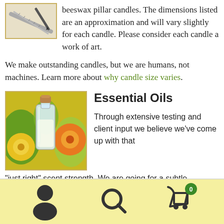[Figure (photo): Small thumbnail image of a ruler/pencil sketch, partially visible at top-left corner]
beeswax pillar candles. The dimensions listed are an approximation and will vary slightly for each candle. Please consider each candle a work of art.
We make outstanding candles, but we are humans, not machines. Learn more about why candle size varies.
[Figure (photo): Photo of a small glass bottle with cork stopper filled with essential oil, surrounded by yellow and orange flowers]
Essential Oils
Through extensive testing and client input we believe we've come up with that "just right" scent strength. We are going for a subtle pleasant aroma not an overbearing smell.
[Figure (infographic): Bottom navigation bar with user icon, search icon, and shopping cart icon with badge showing 0]